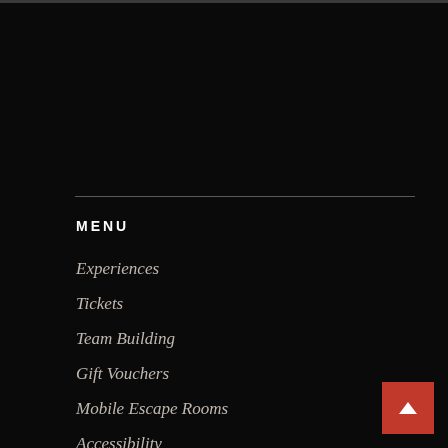MENU
Experiences
Tickets
Team Building
Gift Vouchers
Mobile Escape Rooms
Accessibility